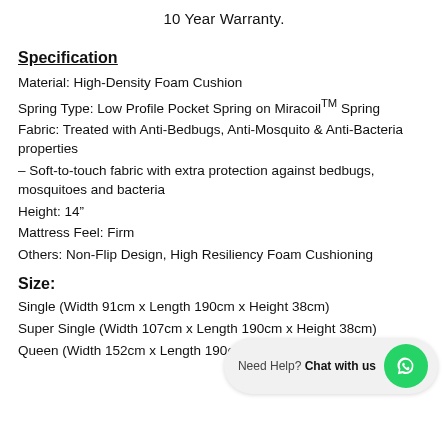10 Year Warranty.
Specification
Material: High-Density Foam Cushion
Spring Type: Low Profile Pocket Spring on MiracoilTM Spring
Fabric: Treated with Anti-Bedbugs, Anti-Mosquito & Anti-Bacteria properties
– Soft-to-touch fabric with extra protection against bedbugs, mosquitoes and bacteria
Height: 14"
Mattress Feel: Firm
Others: Non-Flip Design, High Resiliency Foam Cushioning
Size:
Single (Width 91cm x Length 190cm x Height 38cm)
Super Single (Width 107cm x Length 190cm x Height 38cm)
Queen (Width 152cm x Length 190cm x Height 38cm)